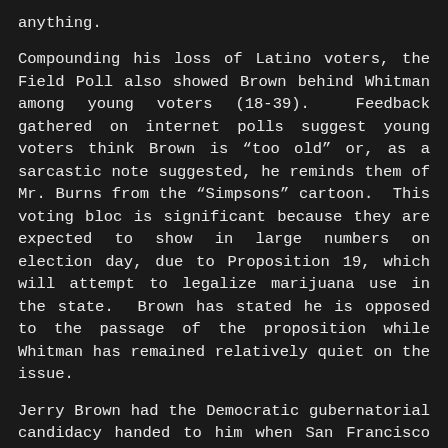anything.
Compounding his loss of Latino voters, the Field Poll also showed Brown behind Whitman among young voters (18-39). Feedback gathered on internet polls suggest young voters think Brown is “too old” or, as a sarcastic note suggested, he reminds them of Mr. Burns from the “Simpsons” cartoon. This voting bloc is significant because they are expected to show in large numbers on election day, due to Proposition 19, which will attempt to legalize marijuana use in the state. Brown has stated he is opposed to the passage of the proposition while Whitman has remained relatively quiet on the issue.
Jerry Brown had the Democratic gubernatorial candidacy handed to him when San Francisco Mayor Gavin Newsome bowed out to run for Lt. Governor. He was indirectly confirmed as the ideal candidate when U.S. Senator Diane Feinstein opted not to run for governor. Even Hollywood has stepped up in raising funds for his campaign. Yet, Jerry Brown and the Democrats don’t appear to want California’s Governorship. Latino voters, like all voters, will support the